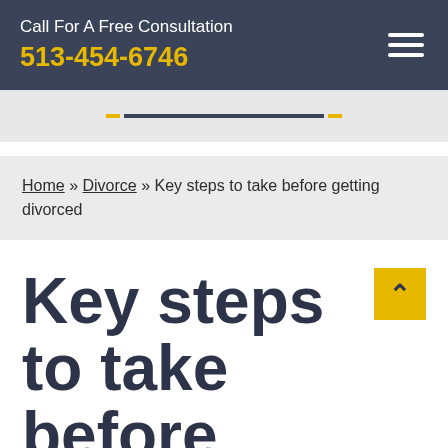Call For A Free Consultation
513-454-6746
Home » Divorce » Key steps to take before getting divorced
Key steps to take before getting divorced